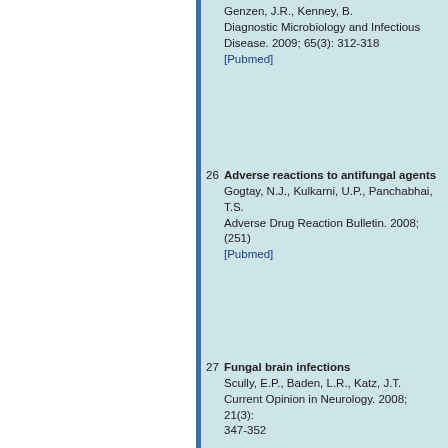Genzen, J.R., Kenney, B. Diagnostic Microbiology and Infectious Disease. 2009; 65(3): 312-318 [Pubmed]
26 Adverse reactions to antifungal agents. Gogtay, N.J., Kulkarni, U.P., Panchabhai, T.S. Adverse Drug Reaction Bulletin. 2008; (251) [Pubmed]
27 Fungal brain infections. Scully, E.P., Baden, L.R., Katz, J.T. Current Opinion in Neurology. 2008; 21(3): 347-352
This website uses cookies. By continuing to use this website you are giving consent to cookies being used. For information on cookies and how you can disable them visit our Privacy and Cookie Policy.
AGREE & PROCEED